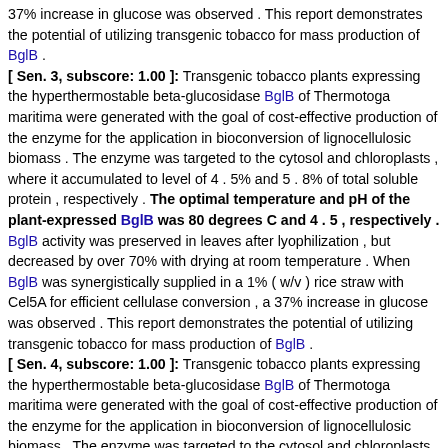37% increase in glucose was observed . This report demonstrates the potential of utilizing transgenic tobacco for mass production of BglB .
[ Sen. 3, subscore: 1.00 ]: Transgenic tobacco plants expressing the hyperthermostable beta-glucosidase BglB of Thermotoga maritima were generated with the goal of cost-effective production of the enzyme for the application in bioconversion of lignocellulosic biomass . The enzyme was targeted to the cytosol and chloroplasts , where it accumulated to level of 4 . 5% and 5 . 8% of total soluble protein , respectively . The optimal temperature and pH of the plant-expressed BglB was 80 degrees C and 4 . 5 , respectively . BglB activity was preserved in leaves after lyophilization , but decreased by over 70% with drying at room temperature . When BglB was synergistically supplied in a 1% ( w/v ) rice straw with Cel5A for efficient cellulase conversion , a 37% increase in glucose was observed . This report demonstrates the potential of utilizing transgenic tobacco for mass production of BglB .
[ Sen. 4, subscore: 1.00 ]: Transgenic tobacco plants expressing the hyperthermostable beta-glucosidase BglB of Thermotoga maritima were generated with the goal of cost-effective production of the enzyme for the application in bioconversion of lignocellulosic biomass . The enzyme was targeted to the cytosol and chloroplasts , where it accumulated to level of 4 . 5% and 5 . 8% of total soluble protein , respectively . The optimal temperature and pH of the plant-expressed BglB was 80 degrees C and 4 . 5 , respectively . BglB activity was preserved in leaves after lyophilization , but decreased by over 70% with drying at room temperature . When BglB was synergistically supplied in a 1% ( w/v ) rice straw with Cel5A for efficient cellulase conversion , a 37% increase in glucose was observed . This report demonstrates the potential of utilizing transgenic tobacco for mass production of BglB .
[ Sen. 5, subscore: 1.00 ]: Transgenic tobacco plants expressing the hyperthermostable beta-glucosidase BglB of Thermotoga maritima were